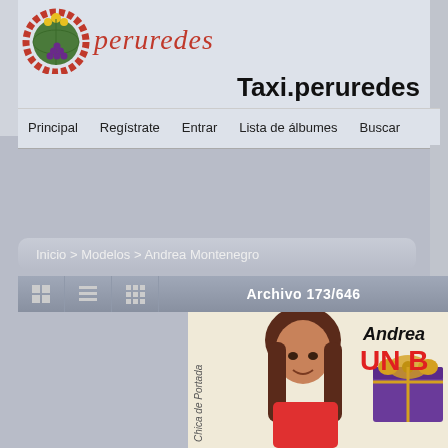[Figure (logo): Peruredes logo with globe and red border circular emblem]
Taxi.peruredes
Principal  Regístrate  Entrar  Lista de álbumes  Buscar
Inicio > Modelos > Andrea Montenegro
Archivo 173/646
[Figure (photo): Photo of Andrea Montenegro, a young woman with dark hair holding a purple gift box with gold bow, text reads 'Chica de Portada', 'Andrea', 'UN B...' in red]